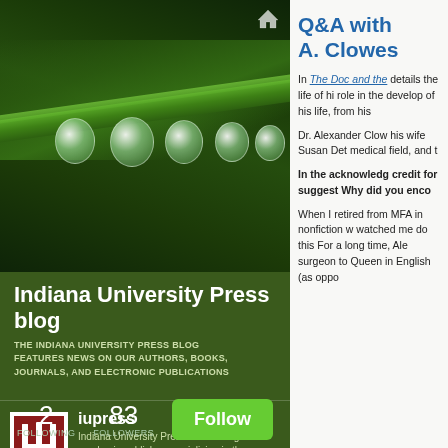[Figure (photo): Close-up photo of a green plant stem with water droplets hanging below it, against a dark green background]
Indiana University Press blog
THE INDIANA UNIVERSITY PRESS BLOG FEATURES NEWS ON OUR AUTHORS, BOOKS, JOURNALS, AND ELECTRONIC PUBLICATIONS
[Figure (logo): Indiana University Press logo - red square with IU trident symbol and PRESS text below]
iupress
Indiana University Press is a leading academic publisher specializing in the humanities & social sciences.
2
FOLLOWING
83
FOLLOWERS
Follow
Q&A with A. Clowes
In The Doc and the details the life of hi role in the develop of his life, from his
Dr. Alexander Clow his wife Susan Det medical field, and t
In the acknowledg credit for suggest Why did you enco
When I retired from MFA in nonfiction w watched me do this For a long time, Ale surgeon to Queen in English (as oppo